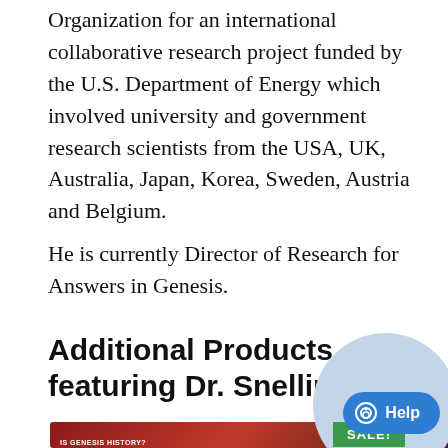Organization for an international collaborative research project funded by the U.S. Department of Energy which involved university and government research scientists from the USA, UK, Australia, Japan, Korea, Sweden, Austria and Belgium.
He is currently Director of Research for Answers in Genesis.
Additional Products featuring Dr. Snelling
[Figure (photo): Product card for 'Is Genesis History?' with a green SALE! badge overlay]
[Figure (photo): Product card for 'Is Genesis' (second product), partially obscured by circular help button overlay]